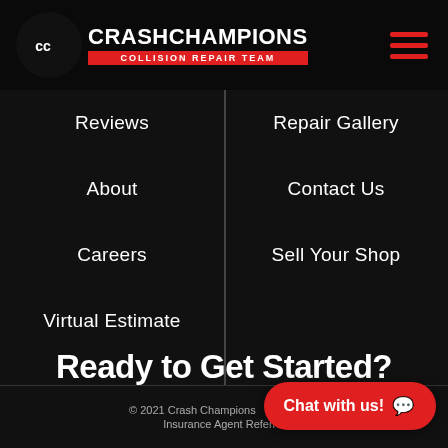[Figure (logo): Crash Champions Collision Repair Team logo with red circle emblem and red hamburger menu icon]
Reviews
Repair Gallery
About
Contact Us
Careers
Sell Your Shop
Virtual Estimate
Ready to Get Started?
Schedule Your Repair
© 2021 Crash Champions | Sitemap | Insurance Agent Referral